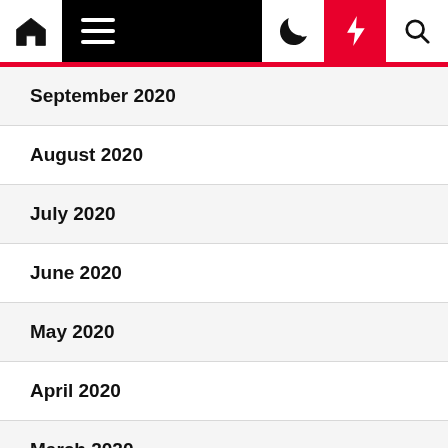Navigation bar with home, menu, moon, lightning, and search icons
September 2020
August 2020
July 2020
June 2020
May 2020
April 2020
March 2020
February 2020
January 2020